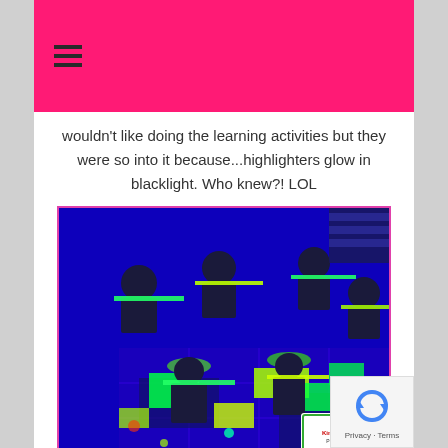wouldn't like doing the learning activities but they were so into it because...highlighters glow in blacklight. Who knew?! LOL
[Figure (photo): Children doing learning activities on the floor in a classroom under blacklight, wearing white t-shirts and hats that glow neon green under the UV light. Glowing papers and materials visible on the floor.]
We did: name writing, letters and sounds, sight words, addition, subtraction, and